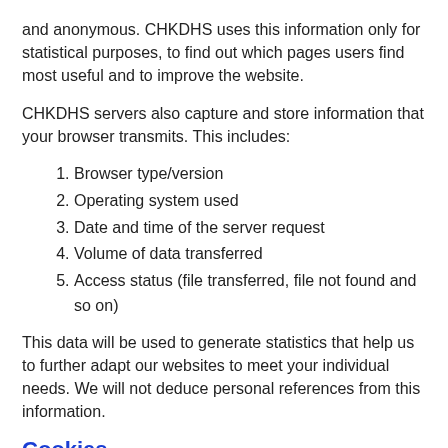and anonymous. CHKDHS uses this information only for statistical purposes, to find out which pages users find most useful and to improve the website.
CHKDHS servers also capture and store information that your browser transmits. This includes:
Browser type/version
Operating system used
Date and time of the server request
Volume of data transferred
Access status (file transferred, file not found and so on)
This data will be used to generate statistics that help us to further adapt our websites to meet your individual needs. We will not deduce personal references from this information.
Cookies